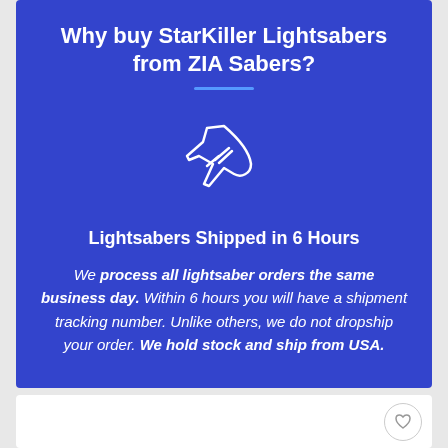Why buy StarKiller Lightsabers from ZIA Sabers?
[Figure (illustration): White outline airplane icon on blue background]
Lightsabers Shipped in 6 Hours
We process all lightsaber orders the same business day. Within 6 hours you will have a shipment tracking number. Unlike others, we do not dropship your order. We hold stock and ship from USA.